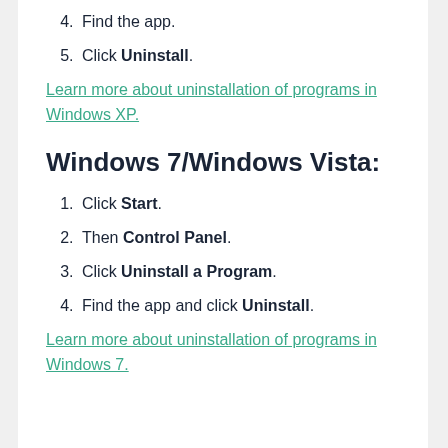4. Find the app.
5. Click Uninstall.
Learn more about uninstallation of programs in Windows XP.
Windows 7/Windows Vista:
1. Click Start.
2. Then Control Panel.
3. Click Uninstall a Program.
4. Find the app and click Uninstall.
Learn more about uninstallation of programs in Windows 7.